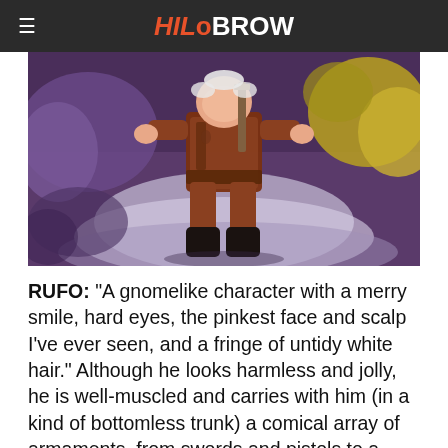HiloBrow
[Figure (illustration): A painted illustration showing a stout gnome-like warrior character in brown armor/clothing, carrying a sword and other equipment, standing in a colorful outdoor scene with purple and yellow foliage.]
RUFO: “A gnomelike character with a merry smile, hard eyes, the pinkest face and scalp I’ve ever seen, and a fringe of untidy white hair.” Although he looks harmless and jolly, he is well-muscled and carries with him (in a kind of bottomless trunk) a comical array of armaments, from swords and pistols to a bazooka. He is a fierce warrior, and a gourmet chef, who prepares incredible meals out of the same trunk. He is bluntly honest, and keeps attempting to tell E... ... ll... ...